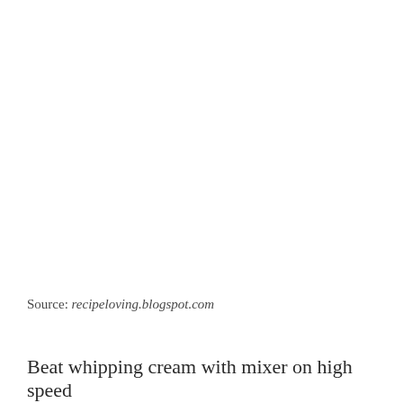Source: recipeloving.blogspot.com
Beat whipping cream with mixer on high speed